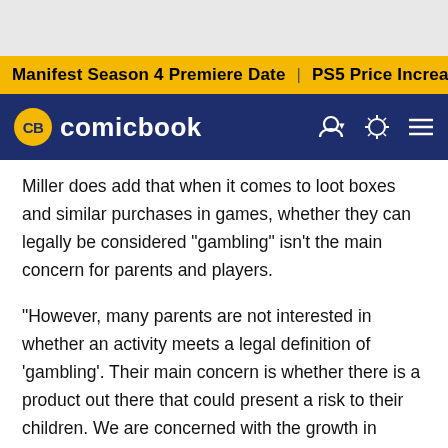Manifest Season 4 Premiere Date | PS5 Price Increase | Jon M
[Figure (logo): comicbook.com logo with CB badge and navigation icons]
Miller does add that when it comes to loot boxes and similar purchases in games, whether they can legally be considered "gambling" isn't the main concern for parents and players.
"However, many parents are not interested in whether an activity meets a legal definition of 'gambling'. Their main concern is whether there is a product out there that could present a risk to their children. We are concerned with the growth in examples where the line between video gaming and gambling is becoming increasingly blurred. Where it